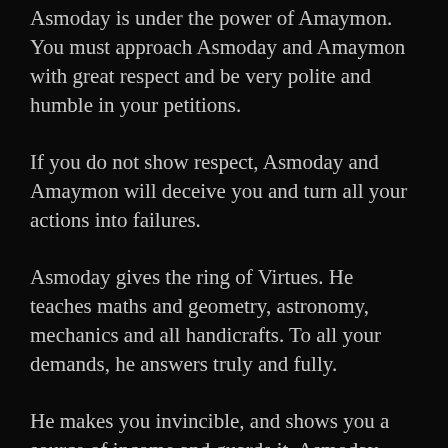Asmoday is under the power of Amaymon. You must approach Asmoday and Amaymon with great respect and be very polite and humble in your petitions.
If you do not show respect, Asmoday and Amaymon will deceive you and turn all your actions into failures.
Asmoday gives the ring of Virtues. He teaches maths and geometry, astronomy, mechanics and all handicrafts. To all your demands, he answers truly and fully.
He makes you invincible, and shows you a source of income and guards it. Asmoday rules 72 legions of inferior spirits.
Johann Weyer, Pseudomonarchia Daemonum